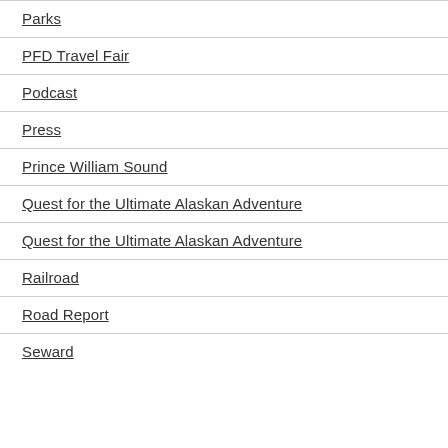Parks
PFD Travel Fair
Podcast
Press
Prince William Sound
Quest for the Ultimate Alaskan Adventure
Quest for the Ultimate Alaskan Adventure
Railroad
Road Report
Seward